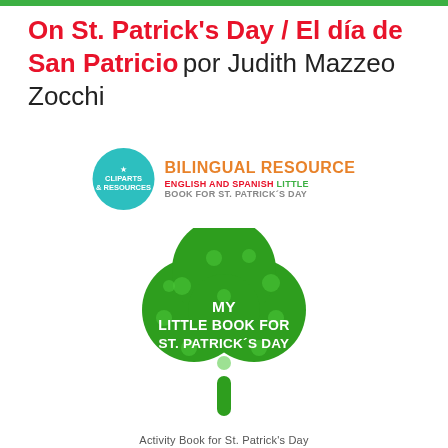On St. Patrick's Day / El día de San Patricio por Judith Mazzeo Zocchi
[Figure (logo): Cliparts & Resources circular teal logo next to 'BILINGUAL RESOURCE' text in orange, with subtitle 'ENGLISH AND SPANISH LITTLE BOOK FOR ST. PATRICK'S DAY']
[Figure (illustration): Green shamrock/clover illustration with lighter green polka dots and white text reading 'MY LITTLE BOOK FOR ST. PATRICK'S DAY']
Activity Book for St. Patrick's Day